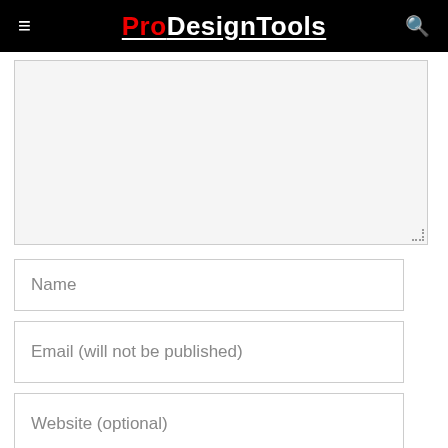ProDesignTools
[Figure (other): Empty textarea / comment input box with light gray background and resize handle]
Name
Email (will not be published)
Website (optional)